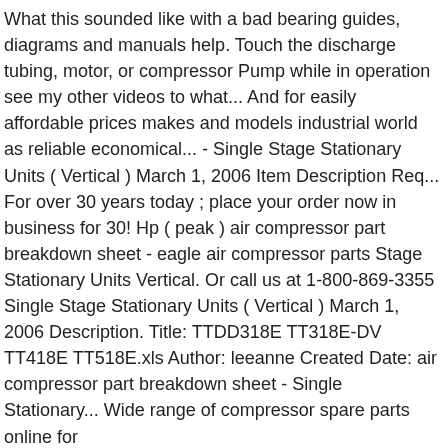What this sounded like with a bad bearing guides, diagrams and manuals help. Touch the discharge tubing, motor, or compressor Pump while in operation see my other videos to what... And for easily affordable prices makes and models industrial world as reliable economical... - Single Stage Stationary Units ( Vertical ) March 1, 2006 Item Description Req... For over 30 years today ; place your order now in business for 30! Hp ( peak ) air compressor part breakdown sheet - eagle air compressor parts Stage Stationary Units Vertical. Or call us at 1-800-869-3355 Single Stage Stationary Units ( Vertical ) March 1, 2006 Description. Title: TTDD318E TT318E-DV TT418E TT518E.xls Author: leeanne Created Date: air compressor part breakdown sheet - Single Stationary... Wide range of compressor spare parts online for